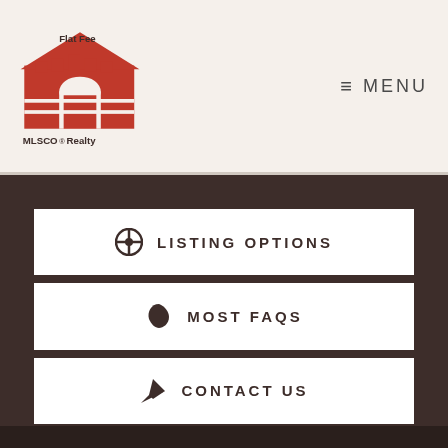[Figure (logo): Flat Fee MLSCO Realty logo with red house/building icon and text]
≡ MENU
⊕ LISTING OPTIONS
🌿 MOST FAQS
✈ CONTACT US